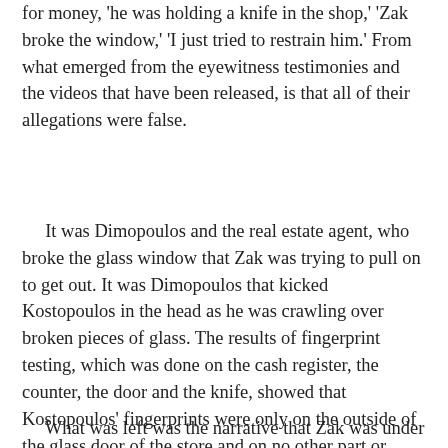for money, 'he was holding a knife in the shop,' 'Zak broke the window,' 'I just tried to restrain him.' From what emerged from the eyewitness testimonies and the videos that have been released, is that all of their allegations were false.
It was Dimopoulos and the real estate agent, who broke the glass window that Zak was trying to pull on to get out. It was Dimopoulos that kicked Kostopoulos in the head as he was crawling over broken pieces of glass. The results of fingerprint testing, which was done on the cash register, the counter, the door and the knife, showed that Kostopoulos' fingerprints were only on the outside of the glass door of the store and on no other part or object. Therefore, the robbery narrative began to fall apart.
What was left was the narrative that Zak was under the